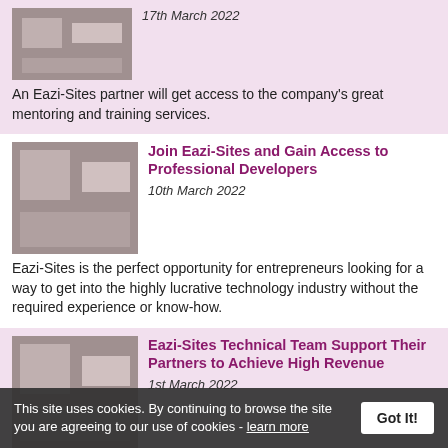17th March 2022
An Eazi-Sites partner will get access to the company's great mentoring and training services.
Join Eazi-Sites and Gain Access to Professional Developers
10th March 2022
Eazi-Sites is the perfect opportunity for entrepreneurs looking for a way to get into the highly lucrative technology industry without the required experience or know-how.
Eazi-Sites Technical Team Support Their Partners to Achieve High Revenue
1st March 2022
Eazi-Sites help partners generate a significant income delivering next generation websites with ultra-modern design themes.
Eazi-Sites Offer Lightning Fast Websites to Help Local Businesses
Eazi-Sites have developed their service to help local
This site uses cookies. By continuing to browse the site you are agreeing to our use of cookies - learn more